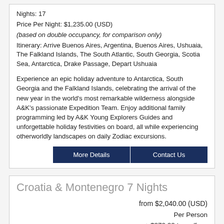Nights:  17
Price Per Night:  $1,235.00 (USD)
(based on double occupancy, for comparison only)
Itinerary:   Arrive Buenos Aires, Argentina, Buenos Aires, Ushuaia, The Falkland Islands, The South Atlantic, South Georgia, Scotia Sea, Antarctica, Drake Passage, Depart Ushuaia
Experience an epic holiday adventure to Antarctica, South Georgia and the Falkland Islands, celebrating the arrival of the new year in the world’s most remarkable wilderness alongside A&K’s passionate Expedition Team. Enjoy additional family programming led by A&K Young Explorers Guides and unforgettable holiday festivities on board, all while experiencing otherworldly landscapes on daily Zodiac excursions.
More Details | Contact Us
Croatia & Montenegro 7 Nights
from $2,040.00 (USD)
Per Person
+ $270.00 taxes/fees
Jul 01, 2023
through Jul 08, 2023